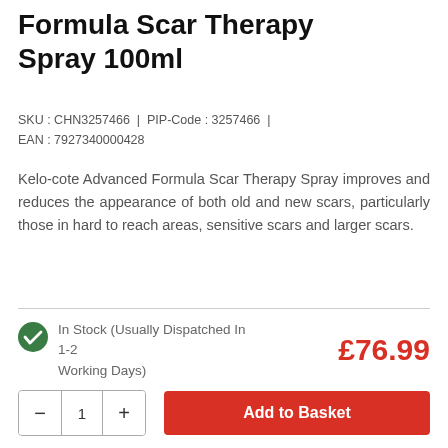Formula Scar Therapy Spray 100ml
SKU : CHN3257466  |  PIP-Code : 3257466  |  EAN : 7927340000428
Kelo-cote Advanced Formula Scar Therapy Spray improves and reduces the appearance of both old and new scars, particularly those in hard to reach areas, sensitive scars and larger scars.
In Stock (Usually Dispatched In 1-2 Working Days)
£76.99
Add to Basket